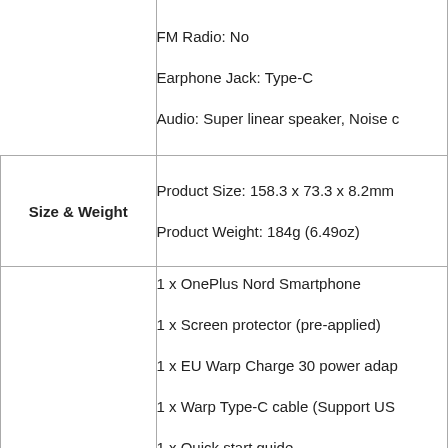| Category | Details |
| --- | --- |
|  | FM Radio: No
Earphone Jack: Type-C
Audio: Super linear speaker, Noise c |
| Size & Weight | Product Size: 158.3 x 73.3 x 8.2mm
Product Weight: 184g (6.49oz) |
| Packing List | 1 x OnePlus Nord Smartphone
1 x Screen protector (pre-applied)
1 x EU Warp Charge 30 power adap
1 x Warp Type-C cable (Support US
1 x Quick start guide
1 x Welcome letter |